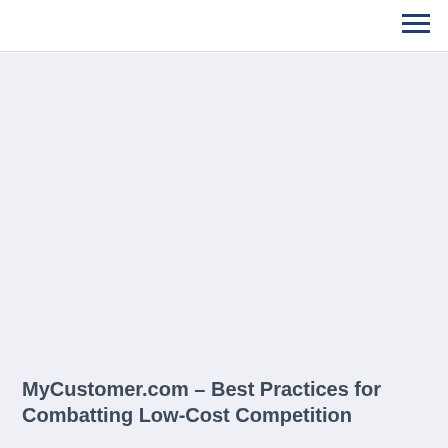MyCustomer.com – Best Practices for Combatting Low-Cost Competition